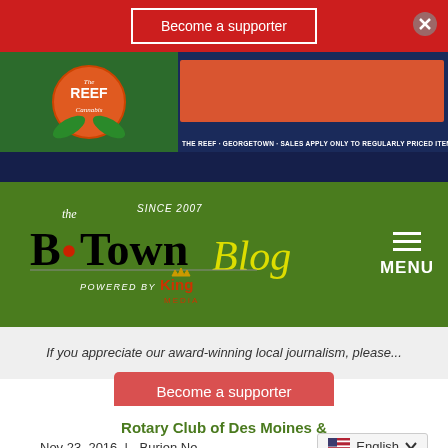Become a supporter
[Figure (logo): The Reef Cannabis advertisement banner with orange/red background and text: THE REEF · GEORGETOWN · SALES APPLY ONLY TO REGULARLY PRICED ITEMS]
[Figure (logo): B·Town Blog logo. Since 2007. Powered by King Media. Green navigation bar with MENU hamburger icon.]
If you appreciate our award-winning local journalism, please...
Become a supporter
Rotary Club of Des Moines & Normandy Park Food Drive is Saturday, Dec. 3
Nov 23, 2016 | Burien Ne... English